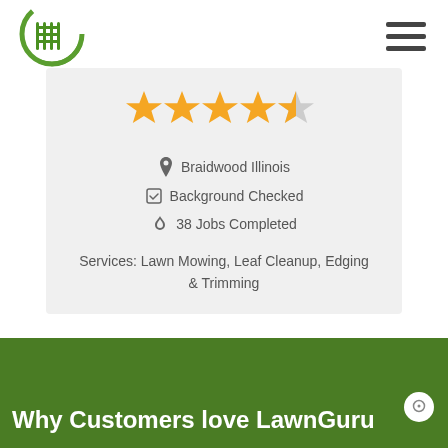[Figure (logo): LawnGuru green logo with rake/grid icon]
[Figure (infographic): Hamburger menu icon (three horizontal bars)]
[Figure (infographic): Star rating: 4.5 out of 5 stars in orange/gold]
Braidwood Illinois
Background Checked
38 Jobs Completed
Services: Lawn Mowing, Leaf Cleanup, Edging & Trimming
Why Customers love LawnGuru